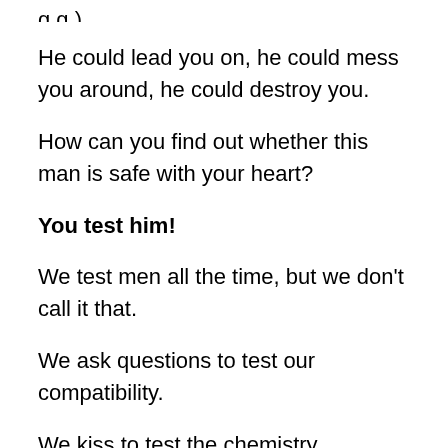He could lead you on, he could mess you around, he could destroy you.
How can you find out whether this man is safe with your heart?
You test him!
We test men all the time, but we don't call it that.
We ask questions to test our compatibility.
We kiss to test the chemistry.
We drop hints to see if he likes us back.